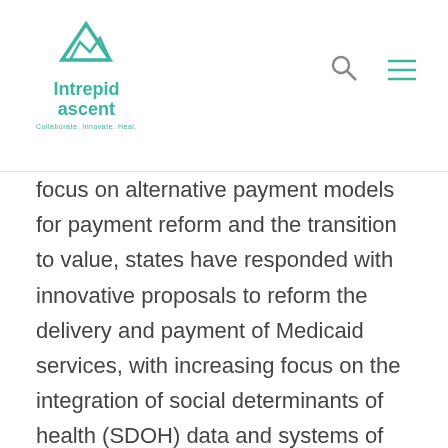Intrepid ascent — Collaborate, Innovate, Heal
focus on alternative payment models for payment reform and the transition to value, states have responded with innovative proposals to reform the delivery and payment of Medicaid services, with increasing focus on the integration of social determinants of health (SDOH) data and systems of care. New York state specifically has historically demonstrated creative approaches to Medicaid reform with their 1115 Waiver Delivery System